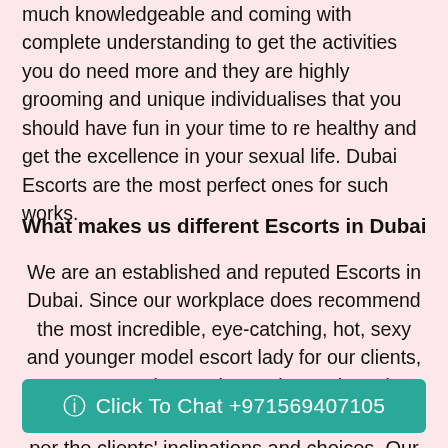much knowledgeable and coming with complete understanding to get the activities you do need more and they are highly grooming and unique individualises that you should have fun in your time to re healthy and get the excellence in your sexual life. Dubai Escorts are the most perfect ones for such works.
What makes us different Escorts in Dubai
We are an established and reputed Escorts in Dubai. Since our workplace does recommend the most incredible, eye-catching, hot, sexy and younger model escort lady for our clients, we can understand your demands and extremely indicate escort workplace in Dubai.
We generally give combo offers of wonderful and hot teenage a... per the clients' inclinations and choices. Our Dubai
Click To Chat +971569407105